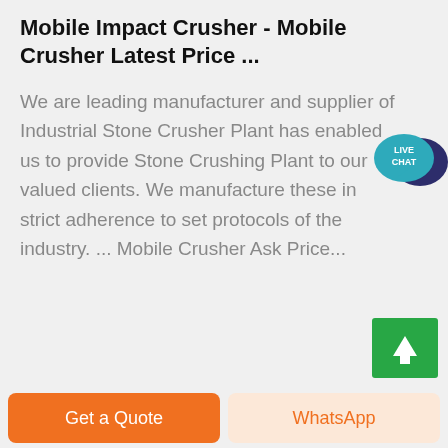Mobile Impact Crusher - Mobile Crusher Latest Price ...
We are leading manufacturer and supplier of Industrial Stone Crusher Plant has enabled us to provide Stone Crushing Plant to our valued clients. We manufacture these in strict adherence to set protocols of the industry. ... Mobile Crusher Ask Price...
[Figure (infographic): Live Chat speech bubble icon with teal background and white text reading LIVE CHAT]
[Figure (infographic): Green scroll-to-top button with white upward arrow]
Get a Quote
WhatsApp